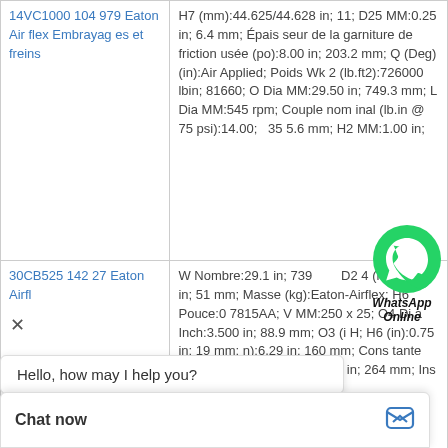| Product | Specifications |
| --- | --- |
| 14VC1000 104979 Eaton Airflex Embrayages et freins | H7 (mm):44.625/44.628 in; 11; D25 MM:0.25 in; 6.4 mm; Épaisseur de la garniture de friction usée (po):8.00 in; 203.2 mm; Q (Deg) (in):Air Applied; Poids Wk2 (lb.ft2):726000 lbin; 81660; O Dia MM:29.50 in; 749.3 mm; L Dia MM:545 rpm; Couple nominal (lb.in @ 75 psi):14.00; 355.6 mm; H2 MM:1.00 in; |
| 30CB525 14227 Eaton Airfl | W Nombre:29.1 in; 739 mm; D24 (mm):2.00 in; 51 mm; Masse (kg):Eaton-Airflex; H6 Pouce:07815AA; V MM:250 x 25; O4 Dia Inch:3.500 in; 88.9 mm; O3 (i H; H6 (in):0.75 in; 19 mm; n):6.29 in; 160 mm; Constante de perte centrifuge Cs (p 19 in; 264 mm; Ins ing1:153 x 782; Di |
[Figure (illustration): WhatsApp green phone icon floating over the table]
WhatsApp Online
Hello, how may I help you?
Chat now